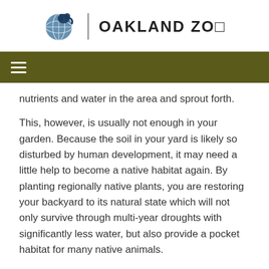OAKLAND ZOO
nutrients and water in the area and sprout forth.
This, however, is usually not enough in your garden. Because the soil in your yard is likely so disturbed by human development, it may need a little help to become a native habitat again. By planting regionally native plants, you are restoring your backyard to its natural state which will not only survive through multi-year droughts with significantly less water, but also provide a pocket habitat for many native animals.
Show Us Your Blooms
Take photos of your native blooms and post them on social media. Tag us @oakzoo and use #pollinators